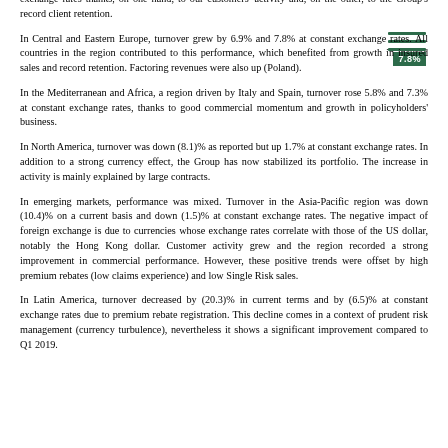exchange rates thanks, on one hand, to our customers' activity and, on the other, to the Group's record client retention.
In Central and Eastern Europe, turnover grew by 6.9% and 7.8% at constant exchange rates. All countries in the region contributed to this performance, which benefited from growth in insured sales and record retention. Factoring revenues were also up (Poland).
In the Mediterranean and Africa, a region driven by Italy and Spain, turnover rose 5.8% and 7.3% at constant exchange rates, thanks to good commercial momentum and growth in policyholders' business.
In North America, turnover was down (8.1)% as reported but up 1.7% at constant exchange rates. In addition to a strong currency effect, the Group has now stabilized its portfolio. The increase in activity is mainly explained by large contracts.
In emerging markets, performance was mixed. Turnover in the Asia-Pacific region was down (10.4)% on a current basis and down (1.5)% at constant exchange rates. The negative impact of foreign exchange is due to currencies whose exchange rates correlate with those of the US dollar, notably the Hong Kong dollar. Customer activity grew and the region recorded a strong improvement in commercial performance. However, these positive trends were offset by high premium rebates (low claims experience) and low Single Risk sales.
In Latin America, turnover decreased by (20.3)% in current terms and by (6.5)% at constant exchange rates due to premium rebate registration. This decline comes in a context of prudent risk management (currency turbulence), nevertheless it shows a significant improvement compared to Q1 2019.